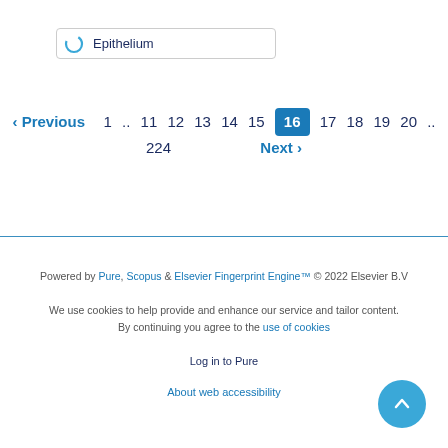[Figure (screenshot): Search box with spinner icon and text 'Epithelium']
‹ Previous  1 .. 11  12  13  14  15  16  17  18  19  20 ..  224  Next ›
Powered by Pure, Scopus & Elsevier Fingerprint Engine™ © 2022 Elsevier B.V

We use cookies to help provide and enhance our service and tailor content. By continuing you agree to the use of cookies

Log in to Pure

About web accessibility